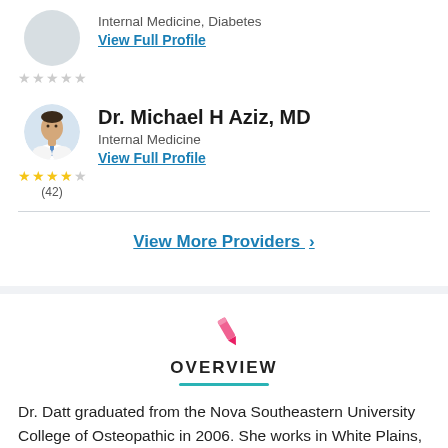Internal Medicine, Diabetes
View Full Profile
[Figure (photo): Doctor portrait photo of Dr. Michael H Aziz, MD]
Dr. Michael H Aziz, MD
Internal Medicine
View Full Profile
(42)
View More Providers >
OVERVIEW
Dr. Datt graduated from the Nova Southeastern University College of Osteopathic in 2006. She works in White Plains, NY and 1 other location and specializes in Endocrinology, Diabetes & Metabolism and Internal Medicine. Dr. Datt is affiliated with Nassau University Medical Center.